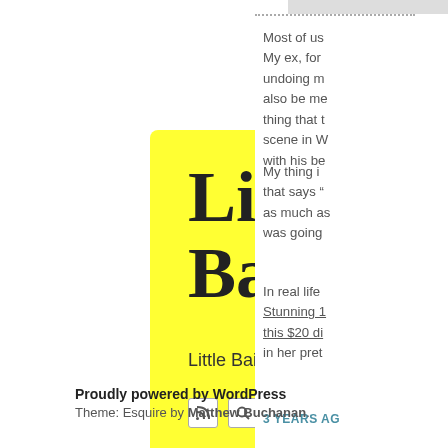[Figure (screenshot): Yellow speech bubble containing 'Little Bailey' title, 'Little Bailey Sex Videos' subtitle, RSS and search icons, and a black horizontal bar]
Most of us My ex, for undoing m also be me thing that t scene in W with his be
My thing i that says “ as much as was going
In real life Stunning 1 this $20 di in her pret
3 YEARS AG
Proudly powered by WordPress Theme: Esquire by Matthew Buchanan.